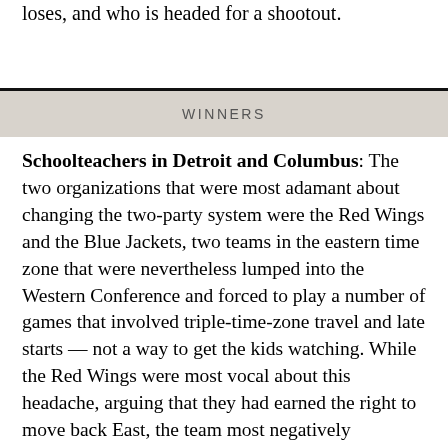loses, and who is headed for a shootout.
WINNERS
Schoolteachers in Detroit and Columbus: The two organizations that were most adamant about changing the two-party system were the Red Wings and the Blue Jackets, two teams in the eastern time zone that were nevertheless lumped into the Western Conference and forced to play a number of games that involved triple-time-zone travel and late starts — not a way to get the kids watching. While the Red Wings were most vocal about this headache, arguing that they had earned the right to move back East, the team most negatively impacted was probably Columbus, which lacks the history and the near-religious fan base willing to stomach such scheduling. The new system, which groups these teams with others only one time zone away and